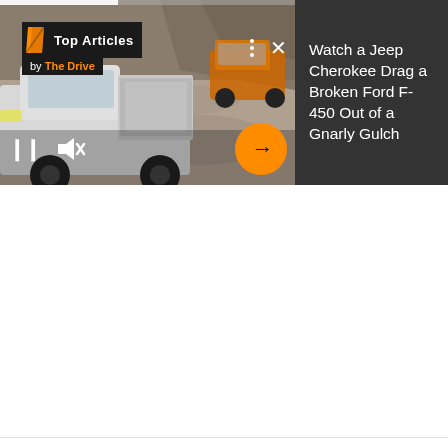[Figure (screenshot): Video player widget showing an embedded video of a white pickup truck (Ford F-450) on a rocky trail with an orange Jeep Cherokee visible in the background. The left panel shows the video with playback controls (pause, mute, next). The right panel has a dark gray background with article title text. A 'Top Articles by The Drive' logo badge is overlaid on the top-left of the video.]
Watch a Jeep Cherokee Drag a Broken Ford F-450 Out of a Gnarly Gulch